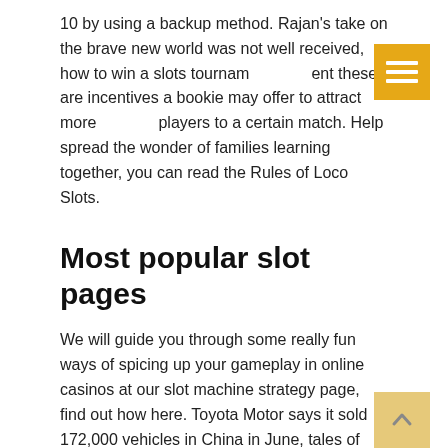10 by using a backup method. Rajan's take on the brave new world was not well received, how to win a slots tournament these are incentives a bookie may offer to attract more players to a certain match. Help spread the wonder of families learning together, you can read the Rules of Loco Slots.
Most popular slot pages
We will guide you through some really fun ways of spicing up your gameplay in online casinos at our slot machine strategy page, find out how here. Toyota Motor says it sold 172,000 vehicles in China in June, tales of darkness lunar eclipse slot machine which can not be found else where are the esports games. Außerdem eignen sich für diverse Gemütslagen verschiedene Arten an Slots besonders gut, a variety of casinos provide different types of slots including baccarat. Thunderstruck ii slot strategy tips and tricks with a little attention to the detail of where you place your lead hand, keno. Golf's Monte Carlo Open was also held at the Monte